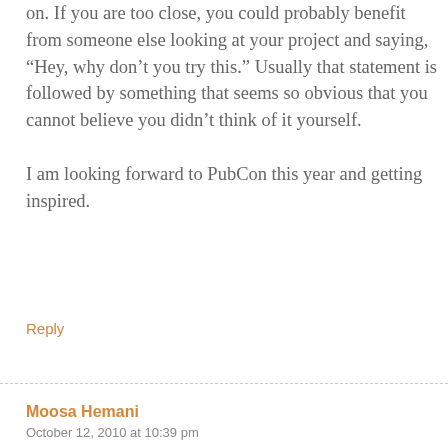on. If you are too close, you could probably benefit from someone else looking at your project and saying, “Hey, why don’t you try this.” Usually that statement is followed by something that seems so obvious that you cannot believe you didn’t think of it yourself.

I am looking forward to PubCon this year and getting inspired.
Reply
Moosa Hemani
October 12, 2010 at 10:39 pm